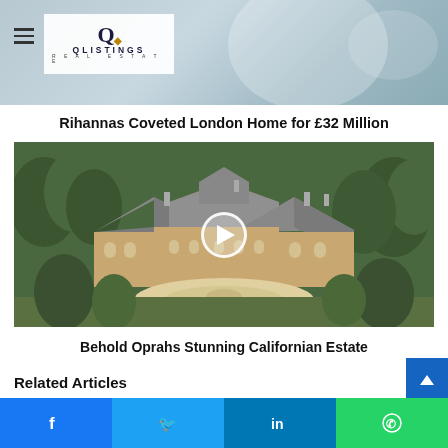[Figure (photo): QListings Real Estate website header with logo on light blue-grey background]
Rihannas Coveted London Home for £32 Million
[Figure (photo): Aerial view of a large mansion estate with grey slate roof, surrounded by green trees - Oprahs Californian estate video thumbnail with play button overlay]
Behold Oprahs Stunning Californian Estate
Related Articles